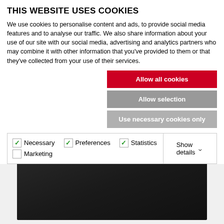THIS WEBSITE USES COOKIES
We use cookies to personalise content and ads, to provide social media features and to analyse our traffic. We also share information about your use of our site with our social media, advertising and analytics partners who may combine it with other information that you’ve provided to them or that they’ve collected from your use of their services.
Allow all cookies
Allow selection
Use necessary cookies only
| Necessary (checked) | Preferences (checked) | Statistics (checked) | Show details |
| Marketing (unchecked) |  |  |  |
[Figure (screenshot): Dark video player area with a small red bar near the top center]